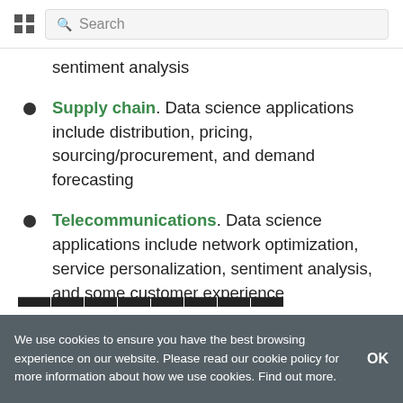Search
sentiment analysis
Supply chain. Data science applications include distribution, pricing, sourcing/procurement, and demand forecasting
Telecommunications. Data science applications include network optimization, service personalization, sentiment analysis, and some customer experience
Types of Data Science (partial, cut off)
We use cookies to ensure you have the best browsing experience on our website. Please read our cookie policy for more information about how we use cookies. Find out more. OK